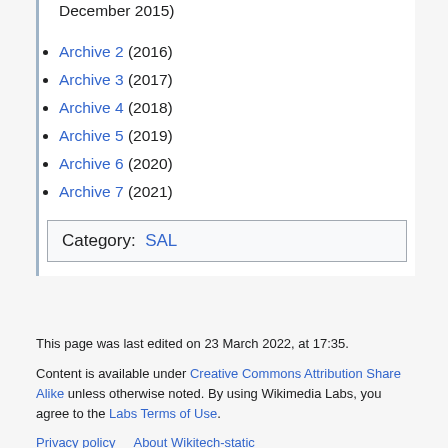December 2015)
Archive 2 (2016)
Archive 3 (2017)
Archive 4 (2018)
Archive 5 (2019)
Archive 6 (2020)
Archive 7 (2021)
Category:  SAL
This page was last edited on 23 March 2022, at 17:35.
Content is available under Creative Commons Attribution Share Alike unless otherwise noted. By using Wikimedia Labs, you agree to the Labs Terms of Use.
Privacy policy   About Wikitech-static
Disclaimers